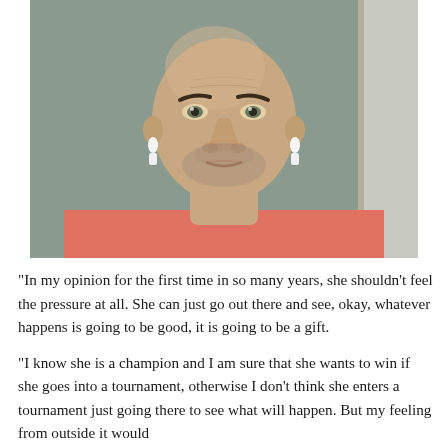[Figure (photo): A bald middle-aged man wearing a salmon/pink shirt and white AirPods earbuds, speaking on a video call. He is seated in front of a light grey wall with a white door frame visible on the right side.]
“In my opinion for the first time in so many years, she shouldn’t feel the pressure at all. She can just go out there and see, okay, whatever happens is going to be good, it is going to be a gift.
“I know she is a champion and I am sure that she wants to win if she goes into a tournament, otherwise I don’t think she enters a tournament just going there to see what will happen. But my feeling from outside it would...